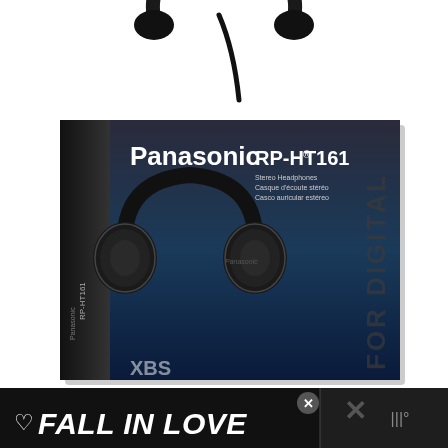[Figure (photo): Product photo showing a Panasonic RP-HT161 Stereo Headphones in their retail box. The box is dark blue/black with 'Panasonic' and 'RP-HT161' branding, 'FOR DIGITAL' text on the side, and an image of black over-ear headphones on the box front. Above the box is a partial image of black headphones on white background.]
[Figure (photo): Advertisement banner at the bottom: dark background with heart icon, bold italic white text 'FALL IN LOVE', a dog and person with headphones image, X close button, and a right panel with logo/icon.]